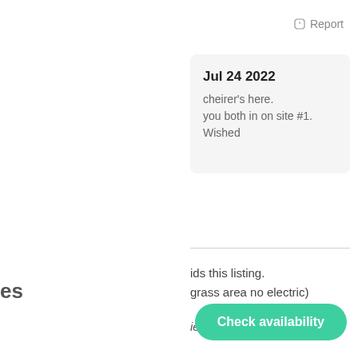Report
Jul 24 2022
cheirer's here.
you both in on site #1. Wished
ids this listing.
grass area no electric)
iet nights with a great
es
Check availability